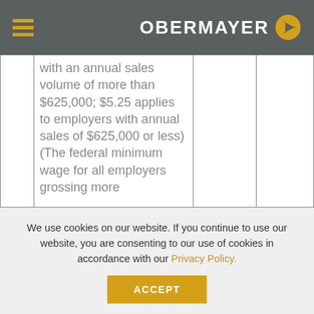OBERMAYER
|  | with an annual sales volume of more than $625,000; $5.25 applies to employers with annual sales of $625,000 or less)(The federal minimum wage for all employers grossing more |  |  |
We use cookies on our website. If you continue to use our website, you are consenting to our use of cookies in accordance with our Privacy Policy.
ACCEPT